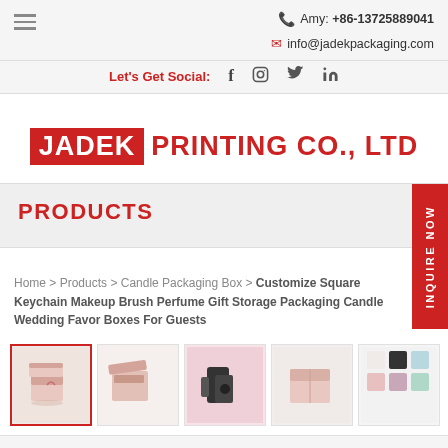Amy: +86-13725889041
info@jadekpackaging.com
Let's Get Social: f  [instagram]  [twitter]  in
JADEK PRINTING CO., LTD
PRODUCTS
Home > Products > Candle Packaging Box > Customize Square Keychain Makeup Brush Perfume Gift Storage Packaging Candle Wedding Favor Boxes For Guests
[Figure (photo): Five product thumbnail images showing pink square candle gift boxes with ribbon, various arrangements and colors including pink, black, and pastel variants]